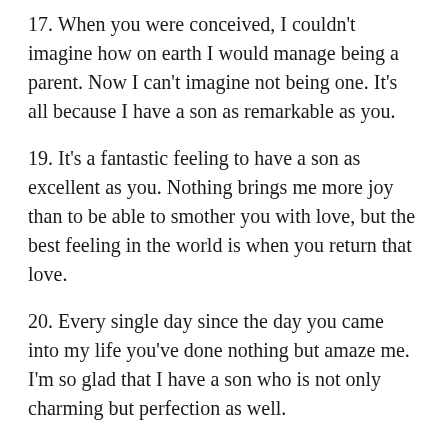17. When you were conceived, I couldn't imagine how on earth I would manage being a parent. Now I can't imagine not being one. It's all because I have a son as remarkable as you.
19. It's a fantastic feeling to have a son as excellent as you. Nothing brings me more joy than to be able to smother you with love, but the best feeling in the world is when you return that love.
20. Every single day since the day you came into my life you've done nothing but amaze me. I'm so glad that I have a son who is not only charming but perfection as well.
21. This year I want you to know that my world is better with you in it. I could never have known how wonderful it would be to be a parent. A son